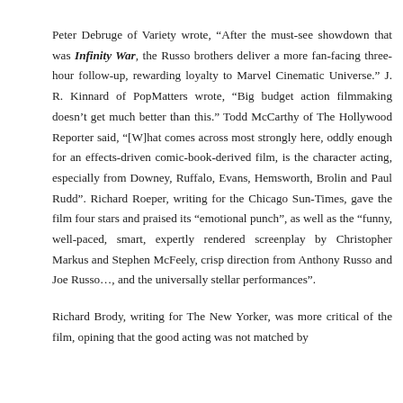Peter Debruge of Variety wrote, “After the must-see showdown that was Infinity War, the Russo brothers deliver a more fan-facing three-hour follow-up, rewarding loyalty to Marvel Cinematic Universe.” J. R. Kinnard of PopMatters wrote, “Big budget action filmmaking doesn’t get much better than this.” Todd McCarthy of The Hollywood Reporter said, “[W]hat comes across most strongly here, oddly enough for an effects-driven comic-book-derived film, is the character acting, especially from Downey, Ruffalo, Evans, Hemsworth, Brolin and Paul Rudd”. Richard Roeper, writing for the Chicago Sun-Times, gave the film four stars and praised its “emotional punch”, as well as the “funny, well-paced, smart, expertly rendered screenplay by Christopher Markus and Stephen McFeely, crisp direction from Anthony Russo and Joe Russo…, and the universally stellar performances”.
Richard Brody, writing for The New Yorker, was more critical of the film, opining that the good acting was not matched by